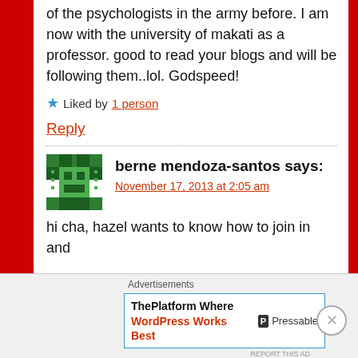of the psychologists in the army before. I am now with the university of makati as a professor. good to read your blogs and will be following them..lol. Godspeed!
★ Liked by 1 person
Reply
berne mendoza-santos says: November 17, 2013 at 2:05 am
hi cha, hazel wants to know how to join in and
[Figure (other): Advertisement banner: ThePlatform Where WordPress Works Best, Pressable]